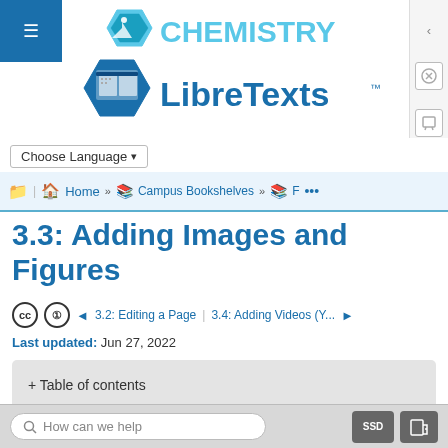[Figure (logo): Chemistry LibreTexts logo with hexagon flask icon and stacked books icon]
Choose Language ▾
🗂 Home » 📚 Campus Bookshelves » 📚 F ...
3.3: Adding Images and Figures
CC BY ◄ 3.2: Editing a Page | 3.4: Adding Videos (Y... ►
Last updated: Jun 27, 2022
+ Table of contents
How can we help